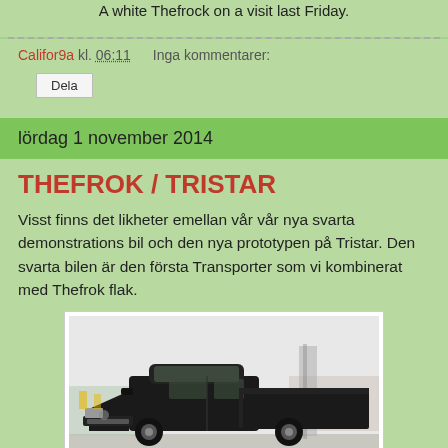A white Thefrock on a visit last Friday.
Califor9a kl. 06:11    Inga kommentarer:
Dela
lördag 1 november 2014
THEFROK / TRISTAR
Visst finns det likheter emellan vår vår nya svarta demonstrations bil och den nya prototypen på Tristar. Den svarta bilen är den första Transporter som vi kombinerat med Thefrok flak.
[Figure (photo): Black pickup/transporter vehicle (Thefrok/Tristar) parked in a lot, front three-quarter view]